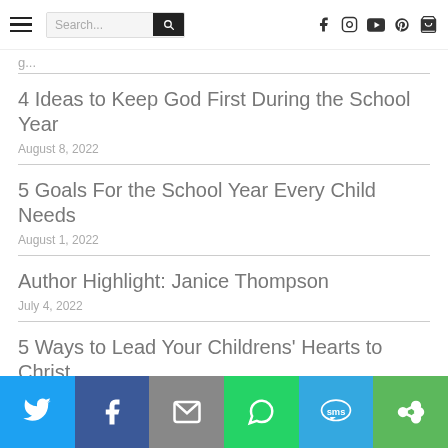Navigation bar with hamburger menu, search box, and social icons (Facebook, Instagram, YouTube, Pinterest, Shopping bag)
g...
4 Ideas to Keep God First During the School Year
August 8, 2022
5 Goals For the School Year Every Child Needs
August 1, 2022
Author Highlight: Janice Thompson
July 4, 2022
5 Ways to Lead Your Childrens' Hearts to Christ
June 26, 2022
Share bar: Twitter, Facebook, Email, WhatsApp, SMS, More